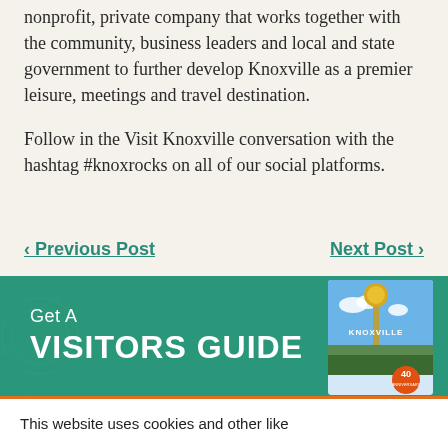nonprofit, private company that works together with the community, business leaders and local and state government to further develop Knoxville as a premier leisure, meetings and travel destination.
Follow in the Visit Knoxville conversation with the hashtag #knoxrocks on all of our social platforms.
‹ Previous Post
Next Post ›
[Figure (infographic): Teal banner with 'Get A VISITORS GUIDE' text and a Knoxville visitors guide book cover showing the Sunsphere tower]
This website uses cookies and other like